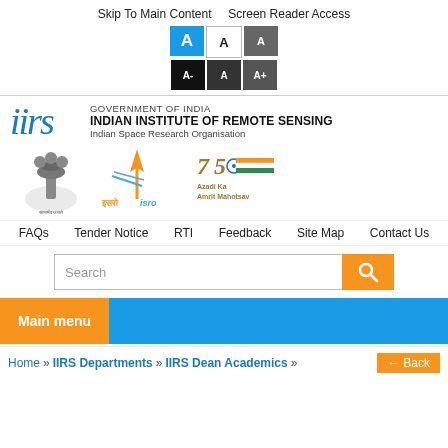Skip To Main Content   Screen Reader Access
[Figure (screenshot): Font size accessibility buttons: A (blue), A (white), A (dark gray) on top row; A- (black), A (dark), A+ (gray) on bottom row]
[Figure (logo): IIRS logo with italic 'iirs' text in blue, Ashoka Pillar emblem, ISRO logo, and Azadi Ka Amrit Mahotsav logo. Header text: GOVERNMENT OF INDIA, INDIAN INSTITUTE OF REMOTE SENSING, Indian Space Research Organisation]
FAQs
Tender Notice
RTI
Feedback
Site Map
Contact Us
Search
Main menu
Home » IIRS Departments » IIRS Dean Academics »   ← Back